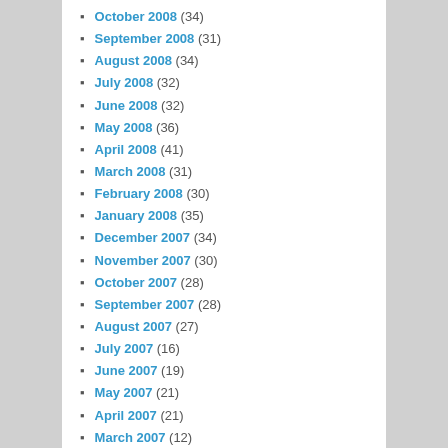October 2008 (34)
September 2008 (31)
August 2008 (34)
July 2008 (32)
June 2008 (32)
May 2008 (36)
April 2008 (41)
March 2008 (31)
February 2008 (30)
January 2008 (35)
December 2007 (34)
November 2007 (30)
October 2007 (28)
September 2007 (28)
August 2007 (27)
July 2007 (16)
June 2007 (19)
May 2007 (21)
April 2007 (21)
March 2007 (12)
February 2007 (9)